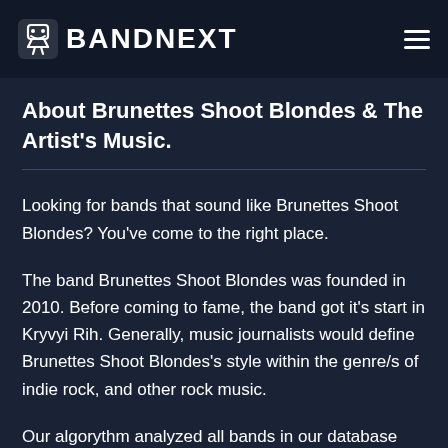BANDNEXT
About Brunettes Shoot Blondes & The Artist's Music.
Looking for bands that sound like Brunettes Shoot Blondes? You've come to the right place.
The band Brunettes Shoot Blondes was founded in 2010. Before coming to fame, the band got it's start in Kryvyi Rih. Generally, music journalists would define Brunettes Shoot Blondes's style within the genre/s of indie rock, and other rock music.
Our algorythm analyzed all bands in our database and below you find the top results.